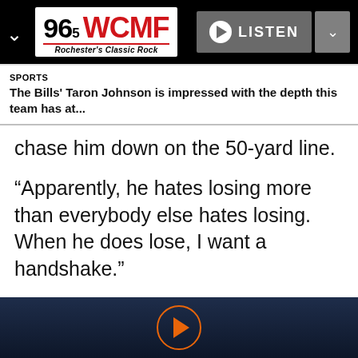[Figure (logo): 96.5 WCMF Rochester's Classic Rock radio station logo with Listen button and navigation chevrons]
SPORTS
The Bills' Taron Johnson is impressed with the depth this team has at...
chase him down on the 50-yard line.
“Apparently, he hates losing more than everybody else hates losing. When he does lose, I want a handshake.”
Brady's questionable sportsmanship is no secret.
[Figure (other): Bottom audio player bar with orange play button circle on dark navy background]